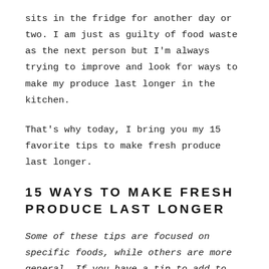sits in the fridge for another day or two. I am just as guilty of food waste as the next person but I'm always trying to improve and look for ways to make my produce last longer in the kitchen.
That's why today, I bring you my 15 favorite tips to make fresh produce last longer.
15 WAYS TO MAKE FRESH PRODUCE LAST LONGER
Some of these tips are focused on specific foods, while others are more general. If you have a tip to add to this list, I'd love to hear about it in the comments below!